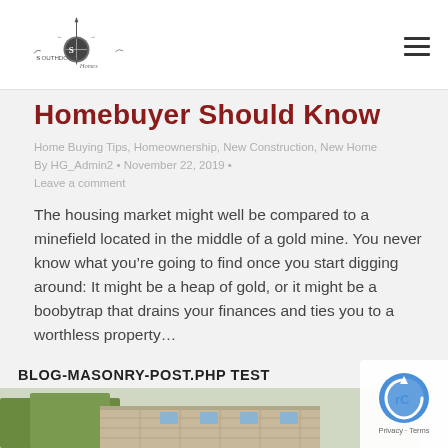[Figure (logo): Southdown Homes logo with compass/arrow design and stylized text]
Homebuyer Should Know
Home Buying Tips, Homeownership, New Construction, New Home
By HG_Admin2 • November 22, 2019 • Leave a comment
The housing market might well be compared to a minefield located in the middle of a gold mine. You never know what you're going to find once you start digging around: It might be a heap of gold, or it might be a boobytrap that drains your finances and ties you to a worthless property…
BLOG-MASONRY-POST.PHP TEST
[Figure (photo): Partial photo of a building exterior with trees and brick facade, cut off at the bottom of the page]